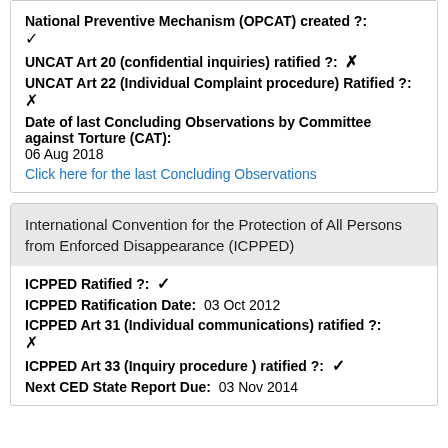National Preventive Mechanism (OPCAT) created ?: ✔
UNCAT Art 20 (confidential inquiries) ratified ?: ✖
UNCAT Art 22 (Individual Complaint procedure) Ratified ?:
✖
Date of last Concluding Observations by Committee against Torture (CAT):
06 Aug 2018
Click here for the last Concluding Observations
International Convention for the Protection of All Persons from Enforced Disappearance (ICPPED)
ICPPED Ratified ?: ✔
ICPPED Ratification Date: 03 Oct 2012
ICPPED Art 31 (Individual communications) ratified ?:
✖
ICPPED Art 33 (Inquiry procedure ) ratified ?: ✔
Next CED State Report Due: 03 Nov 2014